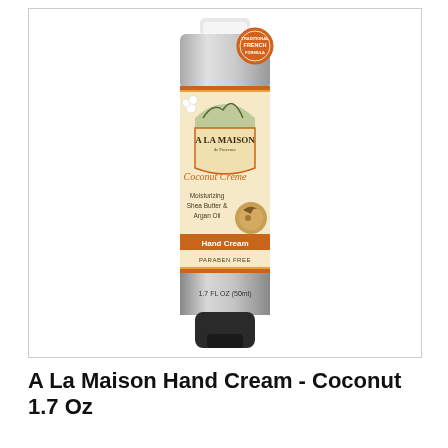[Figure (photo): A La Maison de Provence Coconut Crème Hand Cream tube, 1.7 FL OZ (50ml). The tube is silver/metallic at top and bottom with a cream/beige label. The label shows mountains, white flowers, and text: A LA MAISON de Provence, Coconut Crème, Moisturizing Shea Butter & Argan Oil, Hand Cream (on orange banner), PARABEN FREE. A coconut image is on the right side of the label. A round orange badge at the top reads TRADITIONAL FRENCH FORMULA.]
A La Maison Hand Cream - Coconut 1.7 Oz